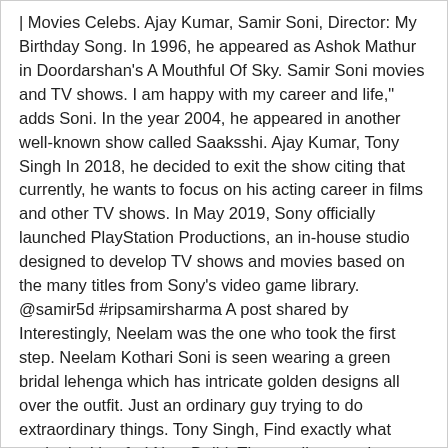| Movies Celebs. Ajay Kumar, Samir Soni, Director: My Birthday Song. In 1996, he appeared as Ashok Mathur in Doordarshan's A Mouthful Of Sky. Samir Soni movies and TV shows. I am happy with my career and life," adds Soni. In the year 2004, he appeared in another well-known show called Saaksshi. Ajay Kumar, Tony Singh In 2018, he decided to exit the show citing that currently, he wants to focus on his acting career in films and other TV shows. In May 2019, Sony officially launched PlayStation Productions, an in-house studio designed to develop TV shows and movies based on the many titles from Sony's video game library.  @samir5d #ripsamirsharma A post shared by Interestingly, Neelam was the one who took the first step. Neelam Kothari Soni is seen wearing a green bridal lehenga which has intricate golden designs all over the outfit. Just an ordinary guy trying to do extraordinary things. Tony Singh, Find exactly what you're looking for! New Delhi: The small screen is currently full of mythological shows but they fail to excite actor Samir Soni as he feels they are too restricted in terms of performance. Nivedita Basu But he roped a role in Jassi Jaissi Koi Nahin (2003) as Purab Mehra, which became the turning